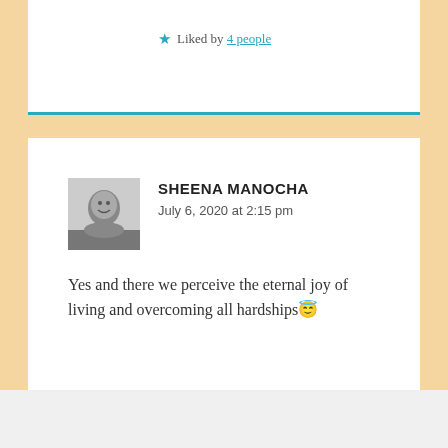★ Liked by 4 people
SHEENA MANOCHA
July 6, 2020 at 2:15 pm
Yes and there we perceive the eternal joy of living and overcoming all hardships 😇
★ Liked by 6 people
Advertisements
[Figure (other): Advertisement banner: dark background with tree/person icon in circle, text 'Teach freely' in green and 'Make money selling online courses.' in gray]